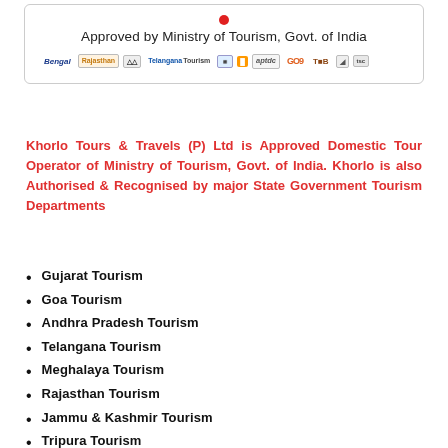[Figure (logo): Banner box with red dot, text 'Approved by Ministry of Tourism, Govt. of India', and a row of state tourism logos including Bengal, Rajasthan, Telangana Tourism, aptdc, GO9, TAB, and others.]
Khorlo Tours & Travels (P) Ltd is Approved Domestic Tour Operator of Ministry of Tourism, Govt. of India. Khorlo is also Authorised & Recognised by major State Government Tourism Departments
Gujarat Tourism
Goa Tourism
Andhra Pradesh Tourism
Telangana Tourism
Meghalaya Tourism
Rajasthan Tourism
Jammu & Kashmir Tourism
Tripura Tourism
West Bengal Tourism